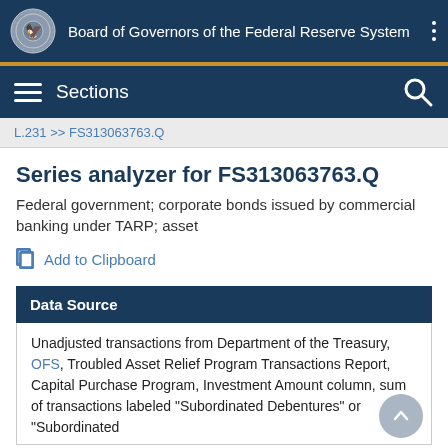Board of Governors of the Federal Reserve System
Sections
L.231 >> FS313063763.Q
Series analyzer for FS313063763.Q
Federal government; corporate bonds issued by commercial banking under TARP; asset
Add to Clipboard
Data Source
Unadjusted transactions from Department of the Treasury, OFS, Troubled Asset Relief Program Transactions Report, Capital Purchase Program, Investment Amount column, sum of transactions labeled "Subordinated Debentures" or "Subordinated